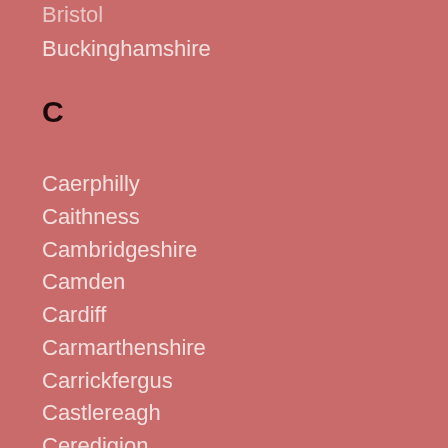Bristol
Buckinghamshire
C
Caerphilly
Caithness
Cambridgeshire
Camden
Cardiff
Carmarthenshire
Carrickfergus
Castlereagh
Ceredigion
Cheshire
City of Aberdeen